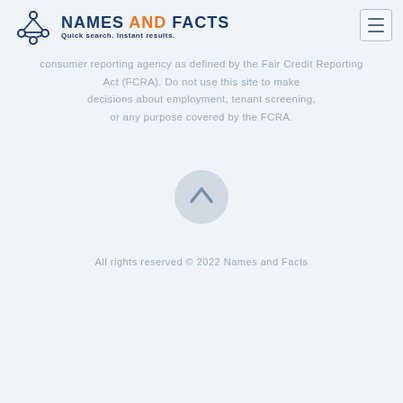NAMES AND FACTS — Quick search. Instant results.
consumer reporting agency as defined by the Fair Credit Reporting Act (FCRA). Do not use this site to make decisions about employment, tenant screening, or any purpose covered by the FCRA.
[Figure (other): Upward-pointing chevron arrow inside a light blue-grey circle, used as a scroll-to-top button]
All rights reserved © 2022 Names and Facts